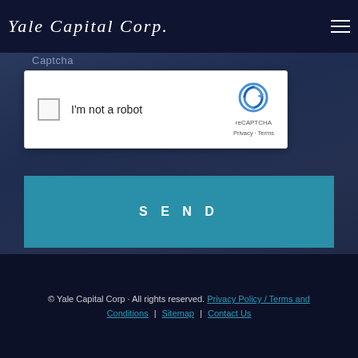Yale Capital Corp.
Captcha
[Figure (screenshot): reCAPTCHA widget showing checkbox labeled 'I'm not a robot' with reCAPTCHA logo, Privacy and Terms links]
SEND
© Yale Capital Corp · All rights reserved. Privacy Policy / Terms and Conditions | Sitemap | Contact Us